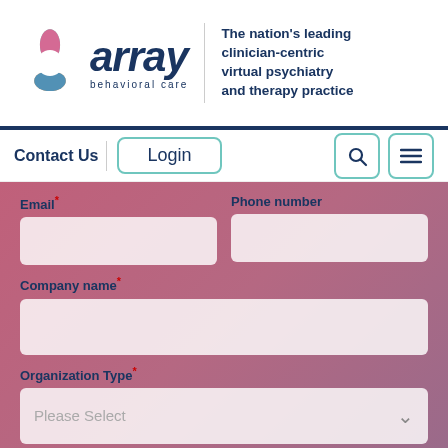[Figure (logo): Array Behavioral Care logo with colorful star/cross icon and italic 'array' text with 'behavioral care' subtitle]
The nation's leading clinician-centric virtual psychiatry and therapy practice
Contact Us
Login
Email*
Phone number
Company name*
Organization Type*
Please Select
State/Region*
Please Select